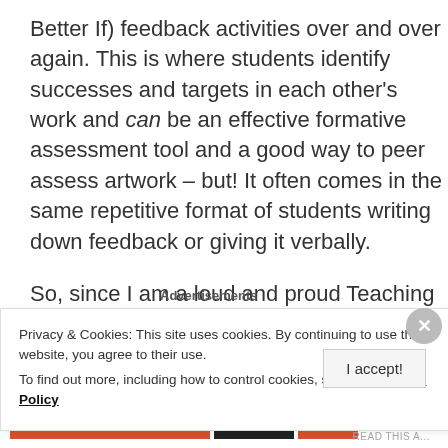Better If) feedback activities over and over again. This is where students identify successes and targets in each other's work and can be an effective formative assessment tool and a good way to peer assess artwork – but! It often comes in the same repetitive format of students writing down feedback or giving it verbally.
So, since I am a loud and proud Teaching and Learning geek, I thought I would do a bit of research.
Advertisements
Privacy & Cookies: This site uses cookies. By continuing to use this website, you agree to their use.
To find out more, including how to control cookies, see here: Cookie Policy
I accept!